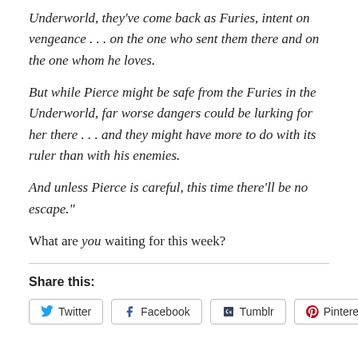Underworld, they've come back as Furies, intent on vengeance . . . on the one who sent them there and on the one whom he loves.
But while Pierce might be safe from the Furies in the Underworld, far worse dangers could be lurking for her there . . . and they might have more to do with its ruler than with his enemies.
And unless Pierce is careful, this time there'll be no escape."
What are you waiting for this week?
Share this:
[Figure (other): Social sharing buttons: Twitter, Facebook, Tumblr, Pinterest]